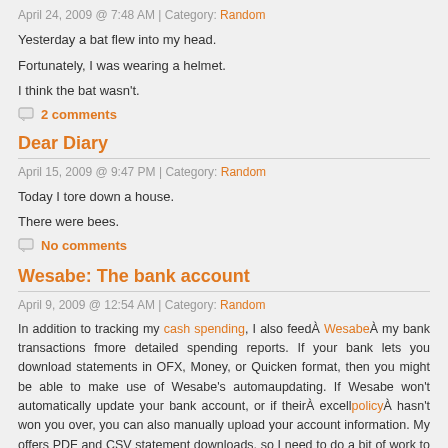April 24, 2009 @ 7:48 AM | Category: Random
Yesterday a bat flew into my head.
Fortunately, I was wearing a helmet.
I think the bat wasn't.
2 comments
Dear Diary
April 15, 2009 @ 9:47 PM | Category: Random
Today I tore down a house.
There were bees.
No comments
Wesabe: The bank account
April 9, 2009 @ 12:54 AM | Category: Random
In addition to tracking my cash spending, I also feedÀ WesabeÀ my bank transactions for more detailed spending reports. If your bank lets you download statements in OFX, Money, or Quicken format, then you might be able to make use of Wesabe's automatic updating. If Wesabe won't automatically update your bank account, or if theirÀ excellent policyÀ hasn't won you over, you can also manually upload your account information. My bank offers PDF and CSV statement downloads, so I need to do a bit of work to make things friendly.